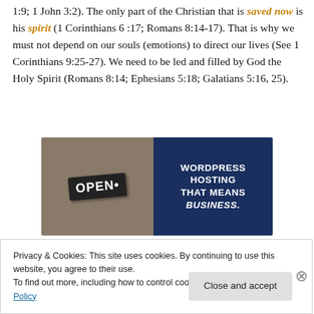1:9; 1 John 3:2). The only part of the Christian that is saved now is his spirit (1 Corinthians 6 :17; Romans 8:14-17). That is why we must not depend on our souls (emotions) to direct our lives (See 1 Corinthians 9:25-27). We need to be led and filled by God the Holy Spirit (Romans 8:14; Ephesians 5:18; Galatians 5:16, 25).
[Figure (other): Advertisement for WordPress Hosting showing a person holding an OPEN sign on the left and dark blue panel with text 'WORDPRESS HOSTING THAT MEANS BUSINESS.' on the right]
Privacy & Cookies: This site uses cookies. By continuing to use this website, you agree to their use.
To find out more, including how to control cookies, see here: Cookie Policy
Close and accept